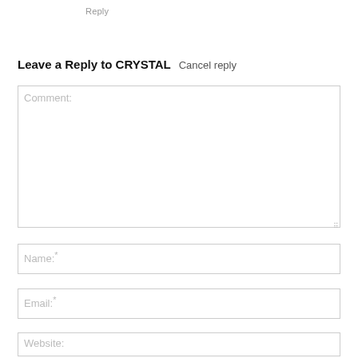Reply
Leave a Reply to CRYSTAL   Cancel reply
Comment:
Name:*
Email:*
Website: